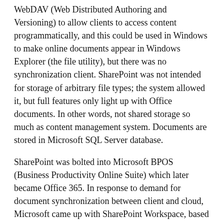WebDAV (Web Distributed Authoring and Versioning) to allow clients to access content programmatically, and this could be used in Windows to make online documents appear in Windows Explorer (the file utility), but there was no synchronization client. SharePoint was not intended for storage of arbitrary file types; the system allowed it, but full features only light up with Office documents. In other words, not shared storage so much as content management system. Documents are stored in Microsoft SQL Server database.
SharePoint was bolted into Microsoft BPOS (Business Productivity Online Suite) which later became Office 365. In response to demand for document synchronization between client and cloud, Microsoft came up with SharePoint Workspace, based on Groove, a synchronization technology acquired along with Groove Networks in 2005.
I have no idea how much original Groove code remains in the the OneDrive for Business client, nor the extent to which